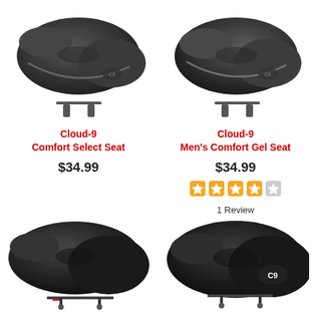[Figure (photo): Cloud-9 Comfort Select Seat bike saddle, dark gray with silver accents, angled view from above]
Cloud-9
Comfort Select Seat
$34.99
[Figure (photo): Cloud-9 Men's Comfort Gel Seat bike saddle, dark gray, angled view from above]
Cloud-9
Men's Comfort Gel Seat
$34.99
[Figure (infographic): 4-star rating display with 4 orange filled stars and 1 gray empty star]
1 Review
[Figure (photo): Black bicycle saddle, no logo, angled side view]
[Figure (photo): Cloud-9 (C9) black bicycle saddle with C9 logo, angled side view]